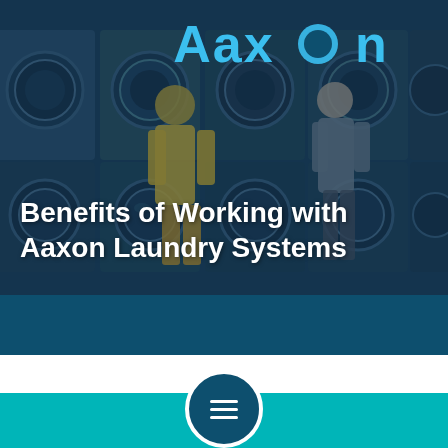[Figure (photo): Laundromat interior with rows of washing machines and dryers, two people visible, overlaid with dark blue tint. Aaxon logo in blue text at top center.]
Benefits of Working with Aaxon Laundry Systems
May 06, 2021
[Figure (other): Bottom navigation bar with teal background containing phone icon, wrench icon, hamburger menu circle button, and mail icon]